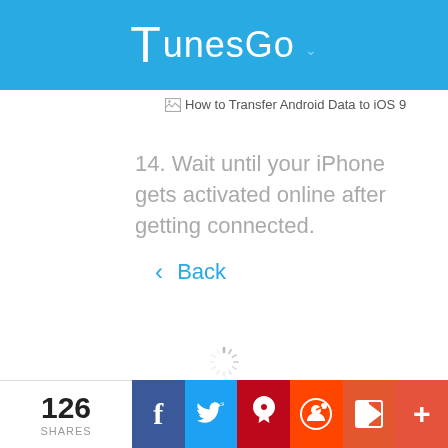TunesGo
[Figure (screenshot): Broken image placeholder with alt text: How to Transfer Android Data to iOS 9]
14. Wait until your iPhone gets activated online after getting connected.
< Back
[Figure (other): Loading spinner graphic]
It may take a few minutes to
126 SHARES | Facebook | Twitter | Pinterest | Reddit | Flipboard | More